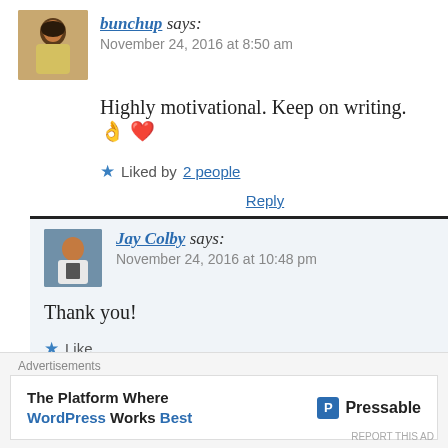bunchup says:
November 24, 2016 at 8:50 am
Highly motivational. Keep on writing. 👌 ❤️
Liked by 2 people
Reply
Jay Colby says:
November 24, 2016 at 10:48 pm
Thank you!
Like
Reply
Advertisements
The Platform Where WordPress Works Best
Pressable